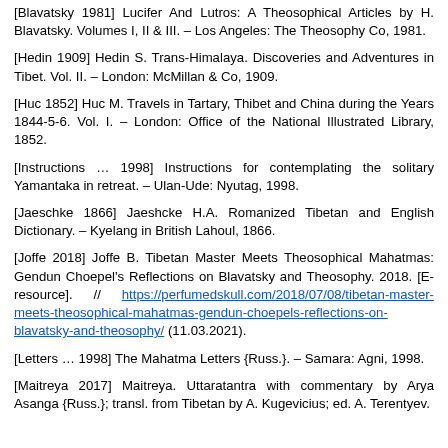[Blavatsky 1981] Lucifer And Lutros: A Theosophical Articles by H. Blavatsky. Volumes I, II & III. – Los Angeles: The Theosophy Co, 1981.
[Hedin 1909] Hedin S. Trans-Himalaya. Discoveries and Adventures in Tibet. Vol. II. – London: McMillan & Co, 1909.
[Huc 1852] Huc M. Travels in Tartary, Thibet and China during the Years 1844-5-6. Vol. I. – London: Office of the National Illustrated Library, 1852.
[Instructions ... 1998] Instructions for contemplating the solitary Yamantaka in retreat. – Ulan-Ude: Nyutag, 1998.
[Jaeschke 1866] Jaeshcke H.A. Romanized Tibetan and English Dictionary. – Kyelang in British Lahoul, 1866.
[Joffe 2018] Joffe B. Tibetan Master Meets Theosophical Mahatmas: Gendun Choepel's Reflections on Blavatsky and Theosophy. 2018. [E-resource]. // https://perfumedskull.com/2018/07/08/tibetan-master-meets-theosophical-mahatmas-gendun-choepels-reflections-on-blavatsky-and-theosophy/ (11.03.2021).
[Letters ... 1998] The Mahatma Letters {Russ.}. – Samara: Agni, 1998.
[Maitreya 2017] Maitreya. Uttaratantra with commentary by Arya Asanga {Russ.}; transl. from Tibetan by A. Kugevicius; ed. A. Terentyev.